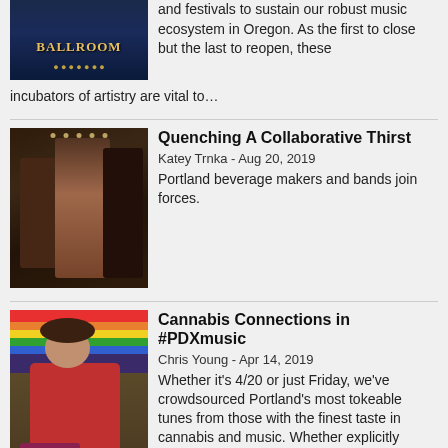[Figure (photo): Partial top article thumbnail showing a ballroom sign in blue neon lighting]
and festivals to sustain our robust music ecosystem in Oregon. As the first to close but the last to reopen, these incubators of artistry are vital to…
[Figure (photo): People standing in a dimly lit bar or music venue, woman in floral dress in center]
Quenching A Collaborative Thirst
Katey Trnka - Aug 20, 2019
Portland beverage makers and bands join forces.
[Figure (photo): Woman in red shirt reclining with colorful background]
Cannabis Connections in #PDXmusic
Chris Young - Apr 14, 2019
Whether it's 4/20 or just Friday, we've crowdsourced Portland's most tokeable tunes from those with the finest taste in cannabis and music. Whether explicitly about bringing a blunt through or…